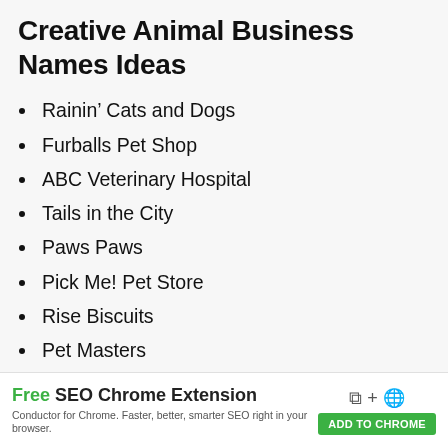Creative Animal Business Names Ideas
Rainin’ Cats and Dogs
Furballs Pet Shop
ABC Veterinary Hospital
Tails in the City
Paws Paws
Pick Me! Pet Store
Rise Biscuits
Pet Masters
Pet Paradise
Lucky Ocean Aquarium
[Figure (infographic): Ad banner: Free SEO Chrome Extension — Conductor for Chrome. Faster, better, smarter SEO right in your browser. ADD TO CHROME button with icons.]